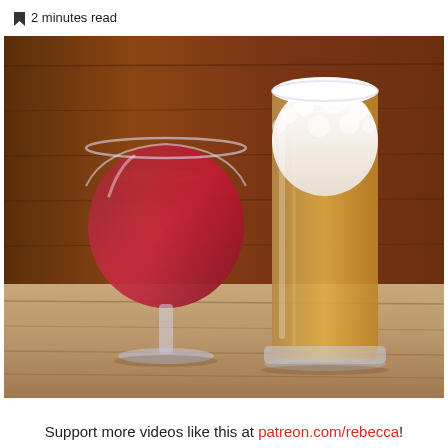2 minutes read
[Figure (photo): A glass of red wine on the left and a tall glass of beer with foam on top on the right, both sitting on a wooden table with a wooden plank background.]
Support more videos like this at patreon.com/rebecca!